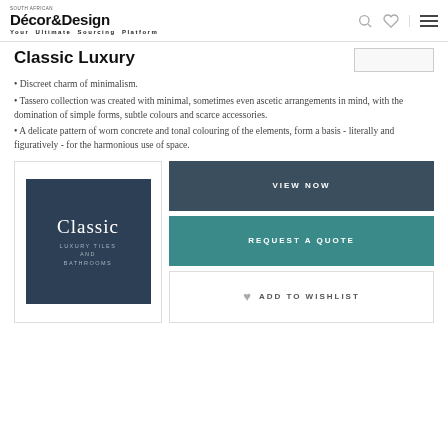Décor&Design
Your Ultimate Sourcing Platform
Classic Luxury
• Discreet charm of minimalism.
• Tassero collection was created with minimal, sometimes even ascetic arrangements in mind, with the domination of simple forms, subtle colours and scarce accessories.
• A delicate pattern of worn concrete and tonal colouring of the elements, form a basis - literally and figuratively - for the harmonious use of space.
[Figure (illustration): Classic Luxury Tiles and Bathrooms product image box with dark blue background showing 'Classic Luxury Tiles and Bathrooms' text]
VIEW NOW
REQUEST A QUOTE
ADD TO WISHLIST